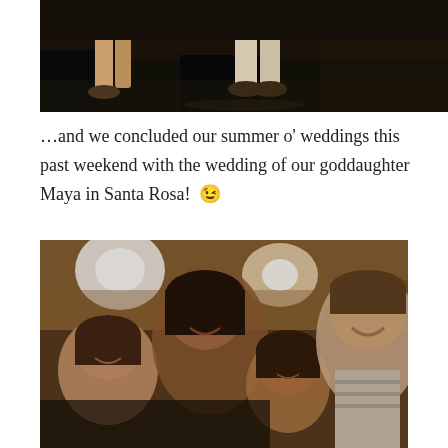[Figure (photo): Cropped photo showing legs and shoes on a dark floor/stage, dimly lit scene]
…and we concluded our summer o' weddings this past weekend with the wedding of our goddaughter Maya in Santa Rosa! 😉
[Figure (photo): Group photo of four young people smiling at a wedding reception, warm indoor lighting with bright lights in background]